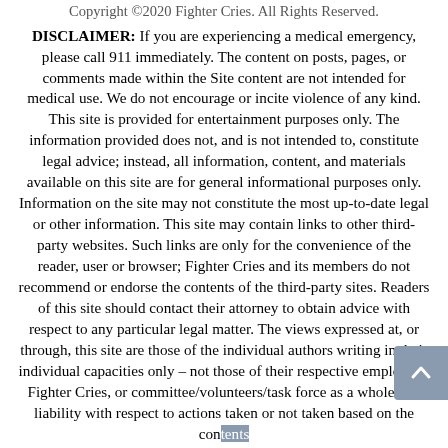Copyright ©2020 Fighter Cries. All Rights Reserved.
DISCLAIMER: If you are experiencing a medical emergency, please call 911 immediately. The content on posts, pages, or comments made within the Site content are not intended for medical use. We do not encourage or incite violence of any kind. This site is provided for entertainment purposes only. The information provided does not, and is not intended to, constitute legal advice; instead, all information, content, and materials available on this site are for general informational purposes only. Information on the site may not constitute the most up-to-date legal or other information. This site may contain links to other third-party websites. Such links are only for the convenience of the reader, user or browser; Fighter Cries and its members do not recommend or endorse the contents of the third-party sites. Readers of this site should contact their attorney to obtain advice with respect to any particular legal matter. The views expressed at, or through, this site are those of the individual authors writing in their individual capacities only – not those of their respective employers, Fighter Cries, or committee/volunteers/task force as a whole. All liability with respect to actions taken or not taken based on the contents of this site are hereby expressly disclaimed. The content on